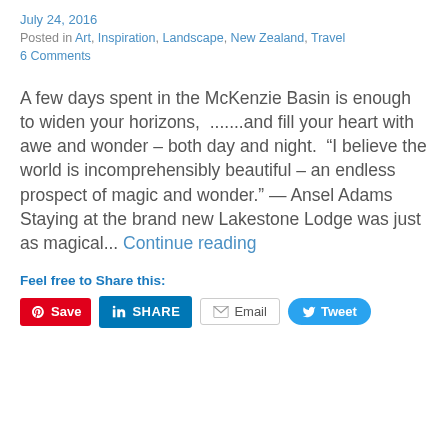July 24, 2016
Posted in Art, Inspiration, Landscape, New Zealand, Travel
6 Comments
A few days spent in the McKenzie Basin is enough to widen your horizons,  .......and fill your heart with awe and wonder – both day and night.  “I believe the world is incomprehensibly beautiful – an endless prospect of magic and wonder.” — Ansel Adams Staying at the brand new Lakestone Lodge was just as magical... Continue reading
Feel free to Share this:
Save  SHARE  Email  Tweet